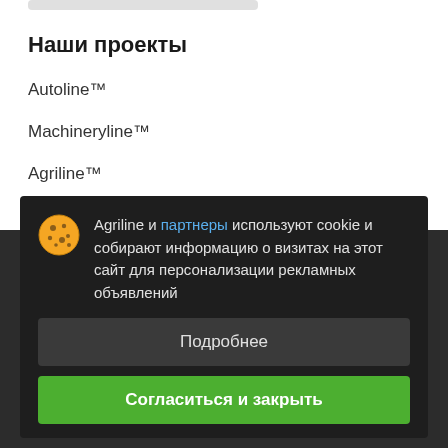Наши проекты
Autoline™
Machineryline™
Agriline™
Информация
Agriline и партнеры используют cookie и собирают информацию о визитах на этот сайт для персонализации рекламных объявлений
Подробнее
Согласиться и закрыть
Наши предложения